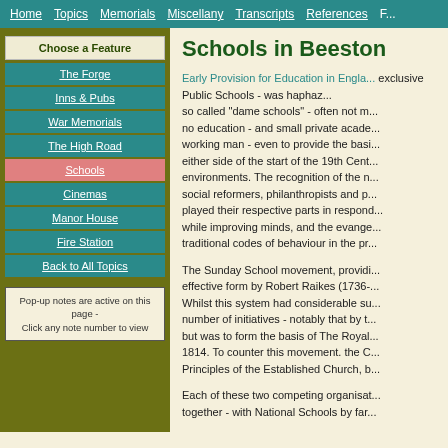Home  Topics  Memorials  Miscellany  Transcripts  References  F...
Choose a Feature
The Forge
Inns & Pubs
War Memorials
The High Road
Schools
Cinemas
Manor House
Fire Station
Back to All Topics
Pop-up notes are active on this page - Click any note number to view
Schools in Beeston
Early Provision for Education in England - exclusive Public Schools - was haphazard - so called "dame schools" - often not much - no education - and small private academies - working man - even to provide the basic - either side of the start of the 19th Cent... environments. The recognition of the n... social reformers, philanthropists and p... played their respective parts in respon... while improving minds, and the evange... traditional codes of behaviour in the pr...
The Sunday School movement, providi... effective form by Robert Raikes (1736-... Whilst this system had considerable su... number of initiatives - notably that by t... but was to form the basis of The Royal... 1814. To counter this movement. the C... Principles of the Established Church, b...
Each of these two competing organisat... together - with National Schools by far...